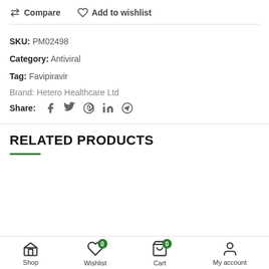Compare  Add to wishlist
SKU: PM02498
Category: Antiviral
Tag: Favipiravir
Brand: Hetero Healthcare Ltd
Share:
RELATED PRODUCTS
Shop  Wishlist 0  Cart 0  My account